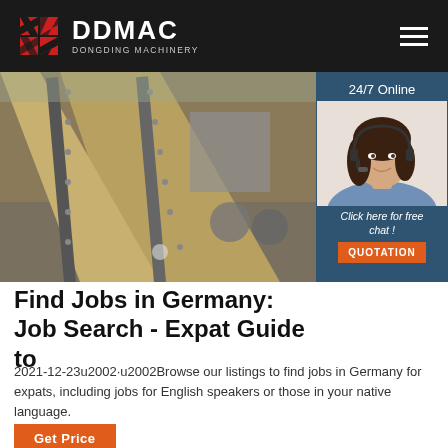DDMAC DONGDING MACHINERY
[Figure (photo): Industrial machinery conveyor/rail equipment in a warehouse setting]
[Figure (photo): Customer service agent woman with headset smiling, 24/7 Online sidebar with Click here for free chat and QUOTATION button]
Find Jobs in Germany: Job Search - Expat Guide to
2021-12-23u2002·u2002Browse our listings to find jobs in Germany for expats, including jobs for English speakers or those in your native language.
Get Price